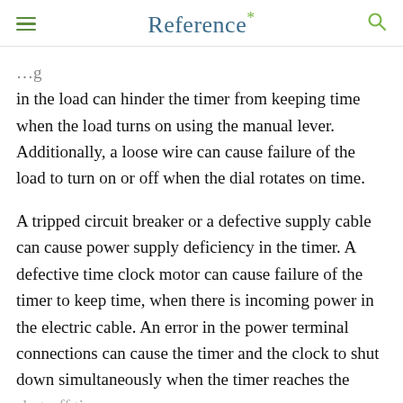Reference*
in the load can hinder the timer from keeping time when the load turns on using the manual lever. Additionally, a loose wire can cause failure of the load to turn on or off when the dial rotates on time.
A tripped circuit breaker or a defective supply cable can cause power supply deficiency in the timer. A defective time clock motor can cause failure of the timer to keep time, when there is incoming power in the electric cable. An error in the power terminal connections can cause the timer and the clock to shut down simultaneously when the timer reaches the shut-off time.